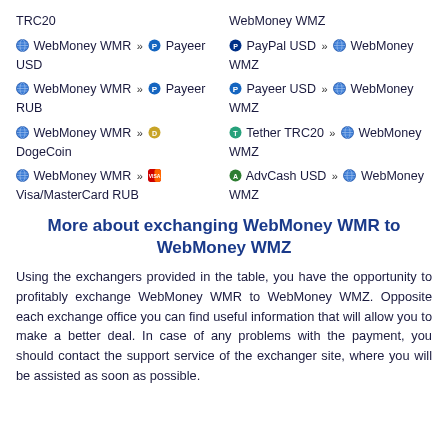TRC20
WebMoney WMZ
WebMoney WMR » Payeer USD
PayPal USD » WebMoney WMZ
WebMoney WMR » Payeer RUB
Payeer USD » WebMoney WMZ
WebMoney WMR » DogeCoin
Tether TRC20 » WebMoney WMZ
WebMoney WMR » Visa/MasterCard RUB
AdvCash USD » WebMoney WMZ
More about exchanging WebMoney WMR to WebMoney WMZ
Using the exchangers provided in the table, you have the opportunity to profitably exchange WebMoney WMR to WebMoney WMZ. Opposite each exchange office you can find useful information that will allow you to make a better deal. In case of any problems with the payment, you should contact the support service of the exchanger site, where you will be assisted as soon as possible.